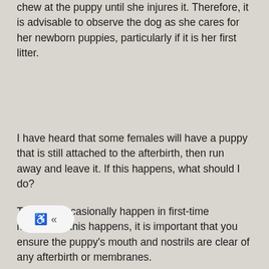chew at the puppy until she injures it. Therefore, it is advisable to observe the dog as she cares for her newborn puppies, particularly if it is her first litter.
I have heard that some females will have a puppy that is still attached to the afterbirth, then run away and leave it. If this happens, what should I do?
This can occasionally happen in first-time mothers. If this happens, it is important that you ensure the puppy's mouth and nostrils are clear of any afterbirth or membranes.